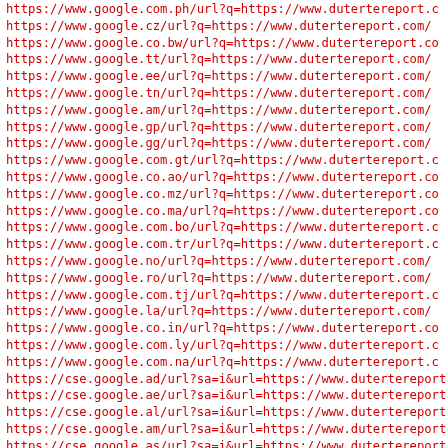https://www.google.com.ph/url?q=https://www.dutertereport.c
https://www.google.cz/url?q=https://www.dutertereport.com/
https://www.google.co.bw/url?q=https://www.dutertereport.co
https://www.google.tt/url?q=https://www.dutertereport.com/
https://www.google.ee/url?q=https://www.dutertereport.com/
https://www.google.tn/url?q=https://www.dutertereport.com/
https://www.google.am/url?q=https://www.dutertereport.com/
https://www.google.gp/url?q=https://www.dutertereport.com/
https://www.google.gg/url?q=https://www.dutertereport.com/
https://www.google.com.gt/url?q=https://www.dutertereport.c
https://www.google.co.ao/url?q=https://www.dutertereport.co
https://www.google.co.mz/url?q=https://www.dutertereport.co
https://www.google.co.ma/url?q=https://www.dutertereport.co
https://www.google.com.bo/url?q=https://www.dutertereport.c
https://www.google.com.tr/url?q=https://www.dutertereport.c
https://www.google.no/url?q=https://www.dutertereport.com/
https://www.google.ro/url?q=https://www.dutertereport.com/
https://www.google.com.tj/url?q=https://www.dutertereport.c
https://www.google.la/url?q=https://www.dutertereport.com/
https://www.google.co.in/url?q=https://www.dutertereport.co
https://www.google.com.ly/url?q=https://www.dutertereport.c
https://www.google.com.na/url?q=https://www.dutertereport.c
https://cse.google.ad/url?sa=i&url=https://www.dutertereport
https://cse.google.ae/url?sa=i&url=https://www.dutertereport
https://cse.google.al/url?sa=i&url=https://www.dutertereport
https://cse.google.am/url?sa=i&url=https://www.dutertereport
https://cse.google.as/url?sa=i&url=https://www.dutertereport
https://cse.google.at/url?sa=i&url=https://www.dutertereport
https://cse.google.az/url?sa=i&url=https://www.dutertereport
https://cse.google.ba/url?sa=i&url=https://www.dutertereport